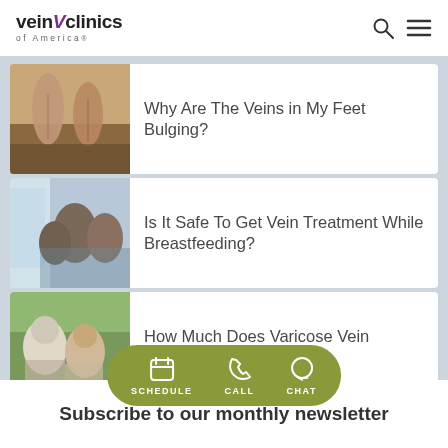[Figure (logo): Vein Clinics of America logo with stylized V in purple]
[Figure (photo): Close-up photo of person's feet on wooden floor with visible veins]
Why Are The Veins in My Feet Bulging?
[Figure (photo): Family sitting on couch together]
Is It Safe To Get Vein Treatment While Breastfeeding?
[Figure (photo): Elderly man and young woman smiling outdoors]
How Much Does Varicose Vein Treatment Cost?
[Figure (infographic): Green pill-shaped CTA bar with Schedule, Call, Chat buttons and icons]
Subscribe to our monthly newsletter